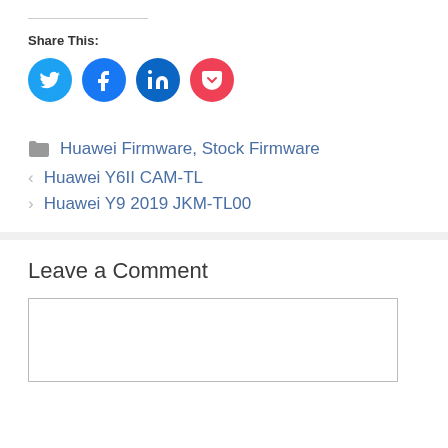Share This:
[Figure (other): Social share icons: Twitter (light blue circle), Facebook (blue circle), LinkedIn (dark blue circle), Pocket (red circle)]
Huawei Firmware, Stock Firmware
Huawei Y6II CAM-TL
Huawei Y9 2019 JKM-TL00
Leave a Comment